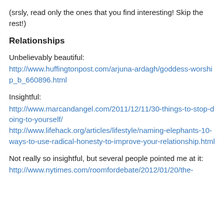(srsly, read only the ones that you find interesting! Skip the rest!)
Relationships
Unbelievably beautiful:
http://www.huffingtonpost.com/arjuna-ardagh/goddess-worship_b_660896.html
Insightful:
http://www.marcandangel.com/2011/12/11/30-things-to-stop-doing-to-yourself/
http://www.lifehack.org/articles/lifestyle/naming-elephants-10-ways-to-use-radical-honesty-to-improve-your-relationship.html
Not really so insightful, but several people pointed me at it:
http://www.nytimes.com/roomfordebate/2012/01/20/the-...